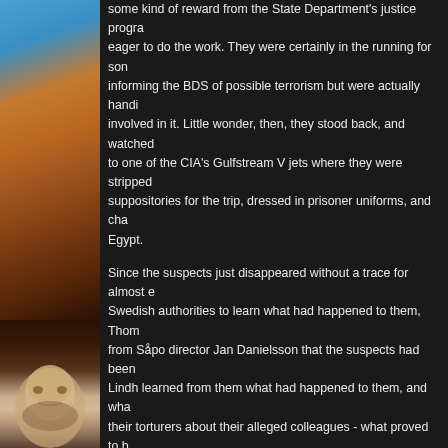[Figure (photo): Left column image showing desert rock formation (top) and a man's face/portrait (bottom) against dark background]
some kind of reward from the State Department's justice program were eager to do the work. They were certainly in the running for some informing the BDS of possible terrorism but were actually handling involved in it. Little wonder, then, they stood back, and watched to one of the CIA's Gulfstream V jets where they were stripped suppositories for the trip, dressed in prisoner uniforms, and cha Egypt.
Since the suspects just disappeared without a trace for almost e Swedish authorities to learn what had happened to them, Thom from Såpo director Jan Danielsson that the suspects had been Lindh learned from them what had happened to them, and wha their torturers about their alleged colleagues - what proved to b learned during their stays in the Middle East about who might h Saddam in most menial capacities.
In June, US Attorney General announced that José Padilla, who in the States, had been captured, thanks to the information whi resident Binyam Mohammed after he had been snatched away tipoffs, and rendered by the CIA to Morocco. Then Lindh leared Jack Straw, with whom she had close relations, about other ren especially those of Australian David Hicks, and Tunisian Abdell Pakistan and rendered shortly thereafter to the American prison point of the rendition transit system, and the Foreign Office was world about what was going on.